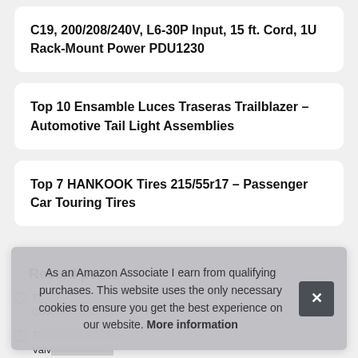C19, 200/208/240V, L6-30P Input, 15 ft. Cord, 1U Rack-Mount Power PDU1230
Top 10 Ensamble Luces Traseras Trailblazer – Automotive Tail Light Assemblies
Top 7 HANKOOK Tires 215/55r17 – Passenger Car Touring Tires
Recent posts
T... Cov...
T... Valv...
Top 10 Regulador De Presion De Gasolina AEM – Automotive
As an Amazon Associate I earn from qualifying purchases. This website uses the only necessary cookies to ensure you get the best experience on our website. More information